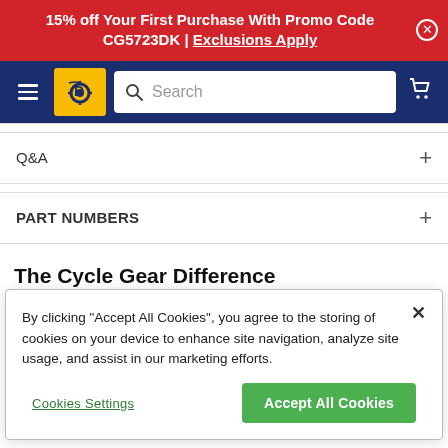15% off Your First Purchase With Promo Code CG5723DK | Exclusions Apply
[Figure (screenshot): Cycle Gear website navigation bar with hamburger menu, Cycle Gear logo, search bar, and cart icon on dark blue background]
Q&A
PART NUMBERS
The Cycle Gear Difference
30 Day Best Price Guarantee (partially visible)
By clicking "Accept All Cookies", you agree to the storing of cookies on your device to enhance site navigation, analyze site usage, and assist in our marketing efforts.
Cookies Settings
Accept All Cookies